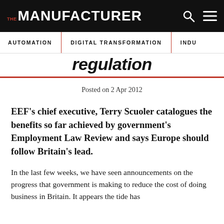THE MANUFACTURER
AUTOMATION | DIGITAL TRANSFORMATION | INDU…
…regulation
Posted on 2 Apr 2012
EEF's chief executive, Terry Scuoler catalogues the benefits so far achieved by government's Employment Law Review and says Europe should follow Britain's lead.
In the last few weeks, we have seen announcements on the progress that government is making to reduce the cost of doing business in Britain. It appears the tide has